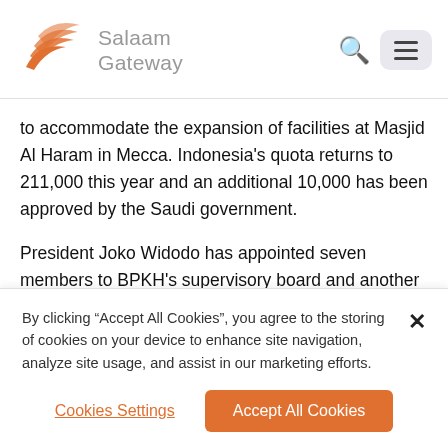[Figure (logo): Salaam Gateway logo with orange wave/bird swoosh icon and grey text 'Salaam Gateway']
to accommodate the expansion of facilities at Masjid Al Haram in Mecca. Indonesia's quota returns to 211,000 this year and an additional 10,000 has been approved by the Saudi government.
President Joko Widodo has appointed seven members to BPKH's supervisory board and another seven to its management board. Their responsibilities cover risk
By clicking “Accept All Cookies”, you agree to the storing of cookies on your device to enhance site navigation, analyze site usage, and assist in our marketing efforts.
Cookies Settings
Accept All Cookies